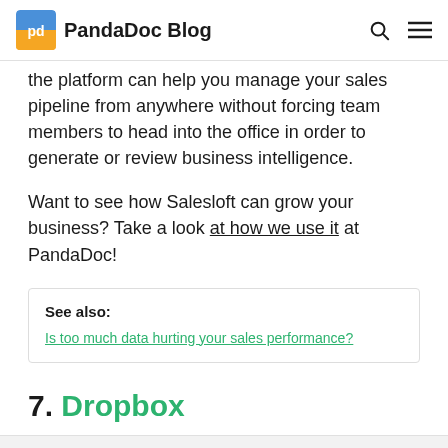PandaDoc Blog
the platform can help you manage your sales pipeline from anywhere without forcing team members to head into the office in order to generate or review business intelligence.
Want to see how Salesloft can grow your business? Take a look at how we use it at PandaDoc!
See also:
Is too much data hurting your sales performance?
7. Dropbox